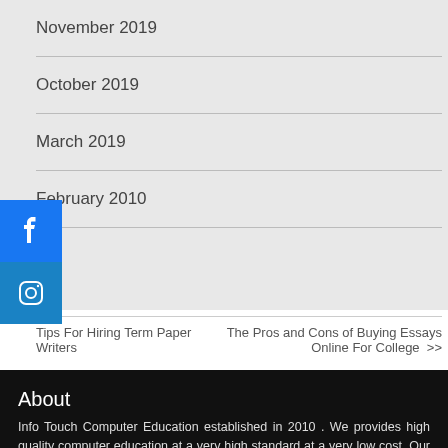November 2019
October 2019
March 2019
February 2010
Tips For Hiring Term Paper Writers
The Pros and Cons of Buying Essays Online For College >>
About
Info Touch Computer Education established in 2010 . We provides high quality computer education at a very high standard at a very low cost. Our mission is to create a pool of high quality